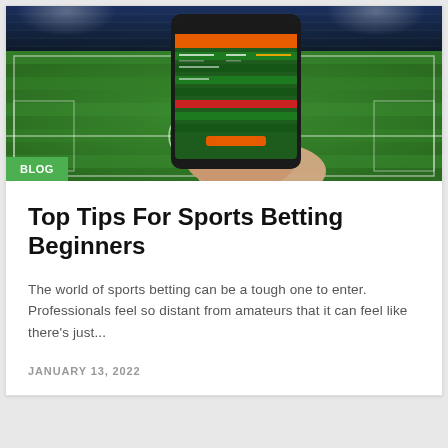[Figure (photo): Hero image of a hand holding a smartphone displaying a sports betting app interface, with a soccer stadium background featuring green grass and floodlights.]
BLOG
Top Tips For Sports Betting Beginners
The world of sports betting can be a tough one to enter. Professionals feel so distant from amateurs that it can feel like there's just...
JANUARY 13, 2022